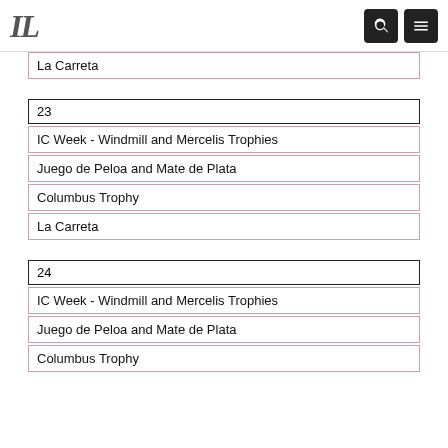IL logo, search and menu icons
La Carreta
23
IC Week - Windmill and Mercelis Trophies
Juego de Peloa and Mate de Plata
Columbus Trophy
La Carreta
24
IC Week - Windmill and Mercelis Trophies
Juego de Peloa and Mate de Plata
Columbus Trophy